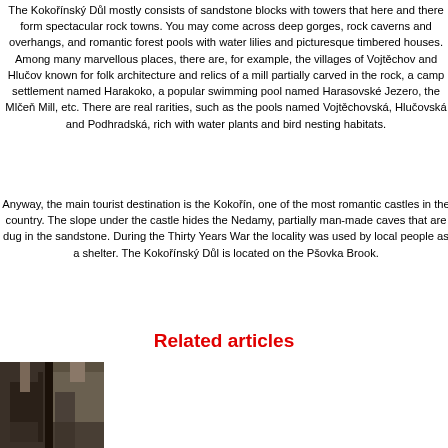The Kokořínský Důl mostly consists of sandstone blocks with towers that here and there form spectacular rock towns. You may come across deep gorges, rock caverns and overhangs, and romantic forest pools with water lilies and picturesque timbered houses. Among many marvellous places, there are, for example, the villages of Vojtěchov and Hlučov known for folk architecture and relics of a mill partially carved in the rock, a camp settlement named Harakoko, a popular swimming pool named Harasovské Jezero, the Mlčeň Mill, etc. There are real rarities, such as the pools named Vojtěchovská, Hlučovská and Podhradská, rich with water plants and bird nesting habitats.
Anyway, the main tourist destination is the Kokořín, one of the most romantic castles in the country. The slope under the castle hides the Nedamy, partially man-made caves that are dug in the sandstone. During the Thirty Years War the locality was used by local people as a shelter. The Kokořínský Důl is located on the Pšovka Brook.
Related articles
[Figure (photo): A photo of rocky sandstone formations or cave entrance, dark rock surfaces visible.]